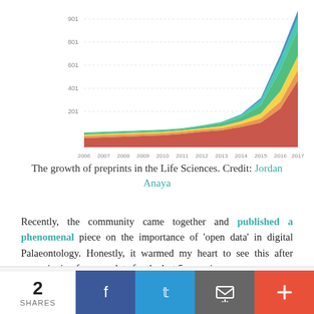[Figure (area-chart): Stacked area chart showing the growth of preprints in the Life Sciences from 2006 to 2017, with multiple colored layers (red, orange/yellow, green/teal, blue) representing different preprint servers or categories. The chart shows dramatic growth especially after 2015.]
The growth of preprints in the Life Sciences. Credit: Jordan Anaya
Recently, the community came together and published a phenomenal piece on the importance of 'open data' in digital Palaeontology. Honestly, it warmed my heart to see this after campaigning for open data for the last 5 years in
Privacy & Cookies: This site uses cookies. By continuing to use this website, you agree to their use.
To find out more, including how to control cookies, see here: Cookie Policy